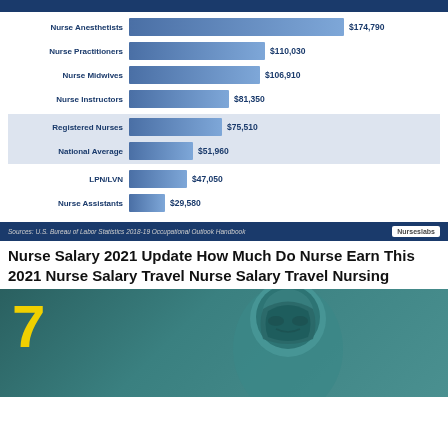[Figure (bar-chart): Nurse Salary Comparison]
Sources: U.S. Bureau of Labor Statistics 2018-19 Occupational Outlook Handbook
Nurse Salary 2021 Update How Much Do Nurse Earn This 2021 Nurse Salary Travel Nurse Salary Travel Nursing
[Figure (photo): A medical professional (nurse or surgeon) viewed from behind wearing surgical scrubs, with a large yellow number 7 overlaid on the left side]